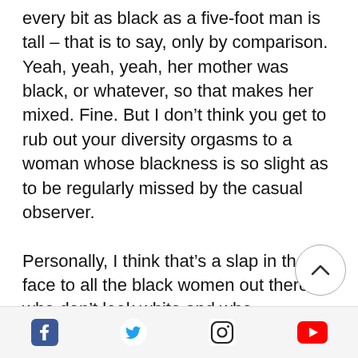every bit as black as a five-foot man is tall – that is to say, only by comparison. Yeah, yeah, yeah, her mother was black, or whatever, so that makes her mixed. Fine. But I don't think you get to rub out your diversity orgasms to a woman whose blackness is so slight as to be regularly missed by the casual observer.

Personally, I think that's a slap in the face to all the black women out there who don't look white and who sometimes struggle with conceptions of their own beauty - as unfortunate as that may be. Talk about tone-deaf. Hey, everybody! Look at this pretty tan
Social media icons: Facebook, Twitter, Instagram, YouTube